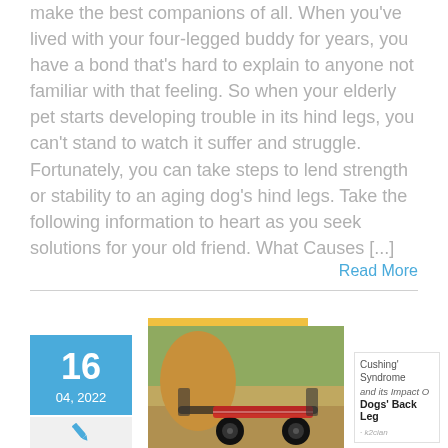make the best companions of all. When you've lived with your four-legged buddy for years, you have a bond that's hard to explain to anyone not familiar with that feeling. So when your elderly pet starts developing trouble in its hind legs, you can't stand to watch it suffer and struggle. Fortunately, you can take steps to lend strength or stability to an aging dog's hind legs. Take the following information to heart as you seek solutions for your old friend. What Causes [...]
Read More
[Figure (photo): A dog in a wheelchair mobility cart on a path outdoors]
[Figure (photo): Book cover about Cushing's Syndrome and its impact on dogs' back legs]